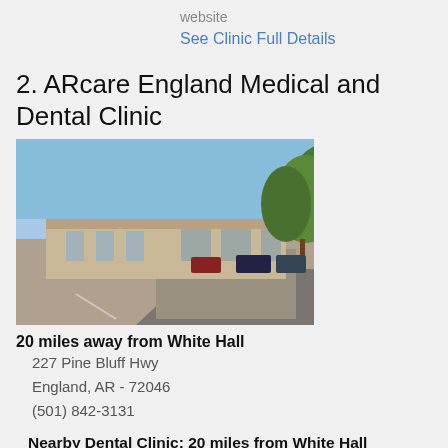website
See Clinic Full Details
2. ARcare England Medical and Dental Clinic
[Figure (photo): Exterior photo of ARcare England Medical and Dental Clinic building with parking lot and trees under blue sky]
20 miles away from White Hall
227 Pine Bluff Hwy
England, AR - 72046
(501) 842-3131
Nearby Dental Clinic: 20 miles from White Hall
Team of doctors and dentists offers medical and dental services for every member of your family, from babies to older adults. Though not a free clinic, ARcare is a federally qualified health